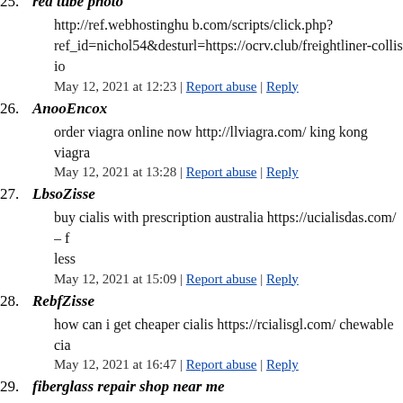25. red tube photo
http://ref.webhostinghub.com/scripts/click.php?ref_id=nichol54&desturl=https://ocrv.club/freightliner-collisio
May 12, 2021 at 12:23 | Report abuse | Reply
26. AnooEncox
order viagra online now http://llviagra.com/ king kong viagra
May 12, 2021 at 13:28 | Report abuse | Reply
27. LbsoZisse
buy cialis with prescription australia https://ucialisdas.com/ – f less
May 12, 2021 at 15:09 | Report abuse | Reply
28. RebfZisse
how can i get cheaper cialis https://rcialisgl.com/ chewable cia
May 12, 2021 at 16:47 | Report abuse | Reply
29. fiberglass repair shop near me
A fascinating discussion is definitely worth comment. I think t about this subject, it may not be a taboo subject but generally p